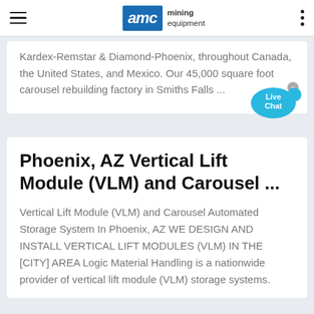AMC mining equipment
Kardex-Remstar & Diamond-Phoenix, throughout Canada, the United States, and Mexico. Our 45,000 square foot carousel rebuilding factory in Smiths Falls ...
[Figure (illustration): Live Chat speech bubble button in blue with an 'x' close icon]
Phoenix, AZ Vertical Lift Module (VLM) and Carousel ...
Vertical Lift Module (VLM) and Carousel Automated Storage System In Phoenix, AZ WE DESIGN AND INSTALL VERTICAL LIFT MODULES (VLM) IN THE [CITY] AREA Logic Material Handling is a nationwide provider of vertical lift module (VLM) storage systems.